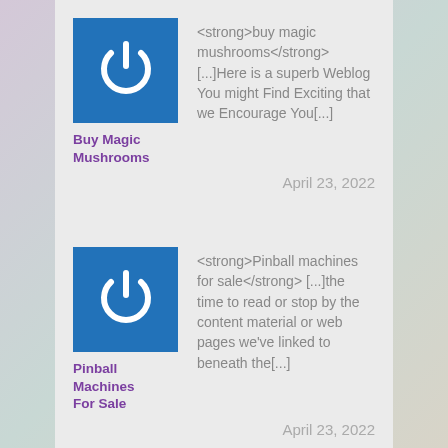[Figure (logo): Blue square with white power button icon]
Buy Magic Mushrooms
<strong>buy magic mushrooms</strong> [...]Here is a superb Weblog You might Find Exciting that we Encourage You[...]
April 23, 2022
[Figure (logo): Blue square with white power button icon]
Pinball Machines For Sale
<strong>Pinball machines for sale</strong> [...]the time to read or stop by the content material or web pages we've linked to beneath the[...]
April 23, 2022